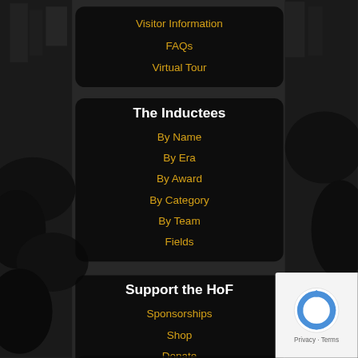Visitor Information
FAQs
Virtual Tour
The Inductees
By Name
By Era
By Award
By Category
By Team
Fields
Support the HoF
Sponsorships
Shop
Donate
Amazon Smile
Get the Latest